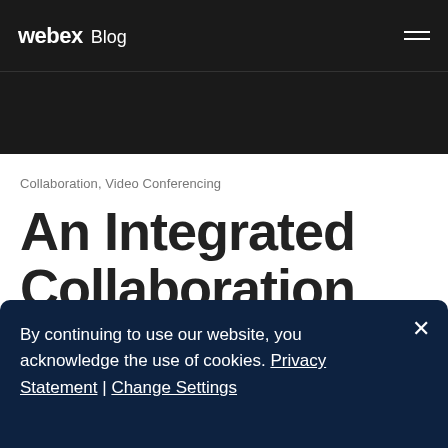webex Blog
Collaboration, Video Conferencing
An Integrated Collaboration
By continuing to use our website, you acknowledge the use of cookies. Privacy Statement | Change Settings